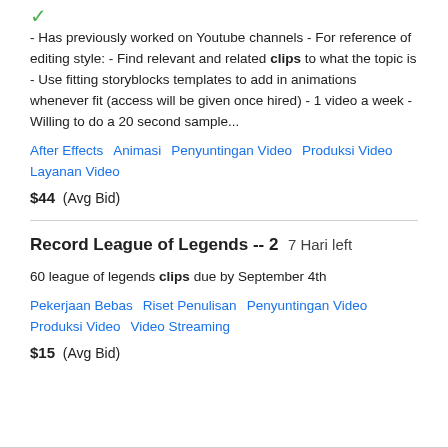- Has previously worked on Youtube channels - For reference of editing style: - Find relevant and related clips to what the topic is - Use fitting storyblocks templates to add in animations whenever fit (access will be given once hired) - 1 video a week - Willing to do a 20 second sample...
After Effects   Animasi   Penyuntingan Video   Produksi Video   Layanan Video
$44  (Avg Bid)
Record League of Legends -- 2   7 Hari left
60 league of legends clips due by September 4th
Pekerjaan Bebas   Riset Penulisan   Penyuntingan Video   Produksi Video   Video Streaming
$15  (Avg Bid)